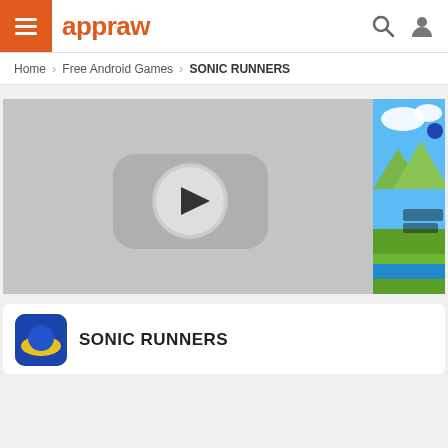appraw
Home > Free Android Games > SONIC RUNNERS
[Figure (screenshot): Video thumbnail with YouTube-style play button on grey background]
[Figure (screenshot): Sonic Runners game screenshot showing colourful side-scrolling landscape]
SONIC RUNNERS